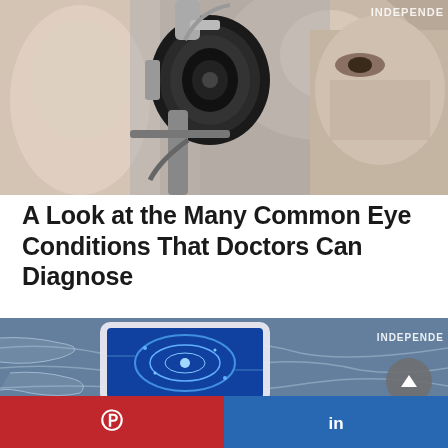[Figure (photo): Close-up photo of a male patient having an eye examination with a slit lamp instrument. A doctor is visible operating the device on the right side.]
A Look at the Many Common Eye Conditions That Doctors Can Diagnose
[Figure (photo): Photo of a smartphone on a map with a futuristic blue tech interface displayed on the screen. The word INDEPENDENT is partially visible as a watermark.]
[Figure (logo): Pinterest icon (white P on red background) on the left half of the footer bar.]
[Figure (logo): LinkedIn icon (white in letters on blue background) on the right half of the footer bar.]